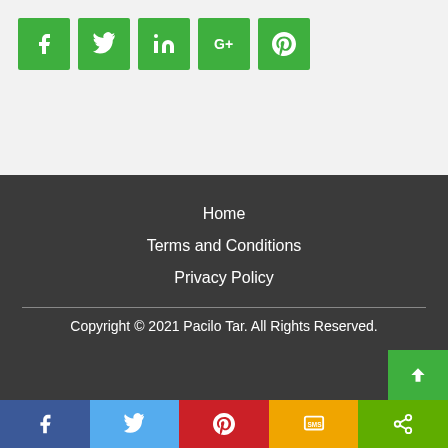[Figure (other): Row of 5 green social media share buttons: Facebook (f), Twitter (bird), LinkedIn (in), Google+ (G+), Pinterest (p)]
Home
Terms and Conditions
Privacy Policy
Copyright © 2021 Pacilo Tar. All Rights Reserved.
[Figure (other): Bottom share bar with Facebook (blue), Twitter (light blue), Pinterest (red), SMS (yellow/orange), ShareThis (green) buttons]